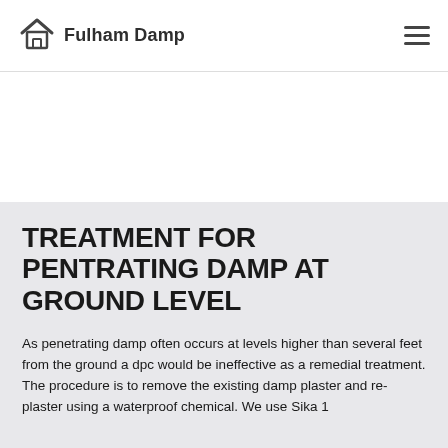Fulham Damp
TREATMENT FOR PENTRATING DAMP AT GROUND LEVEL
As penetrating damp often occurs at levels higher than several feet from the ground a dpc would be ineffective as a remedial treatment. The procedure is to remove the existing damp plaster and re-plaster using a waterproof chemical. We use Sika 1